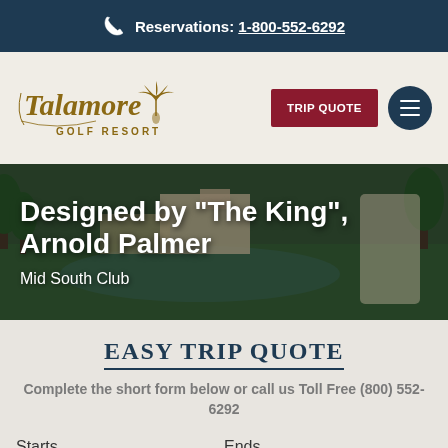Reservations: 1-800-552-6292
[Figure (logo): Talamore Golf Resort logo in gold/tan script with decorative palm tree emblem]
TRIP QUOTE
[Figure (illustration): Hero banner showing Talamore Golf Resort course with water feature and text overlay: Designed by "The King", Arnold Palmer — Mid South Club, with Arnold Palmer photo and signature]
EASY TRIP QUOTE
Complete the short form below or call us Toll Free (800) 552-6292
Starts	Ends